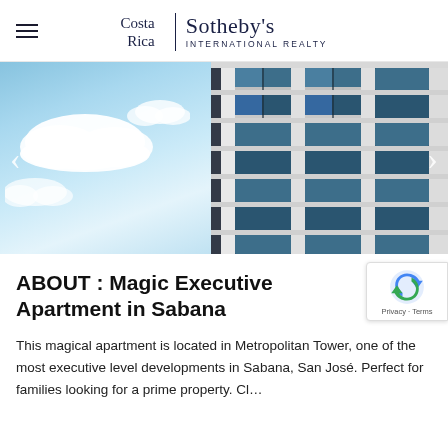Costa Rica | Sotheby's International Realty
[Figure (photo): Real estate listing photo showing a modern glass high-rise apartment building exterior against a blue sky with clouds. Left half shows blue sky with white clouds; right half shows the building facade with glass panels and white structural elements, viewed from below at an angle.]
ABOUT : Magic Executive Apartment in Sabana
This magical apartment is located in Metropolitan Tower, one of the most executive level developments in Sabana, San José. Perfect for families looking for a prime property. Cl...